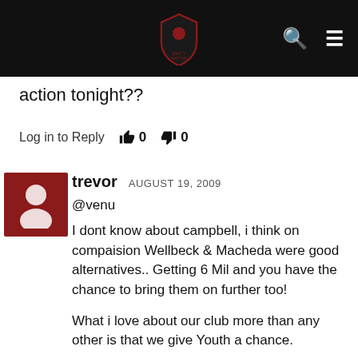Website header with logo, search icon, and menu icon
action tonight??
Log in to Reply  👍 0  👎 0
trevor  AUGUST 19, 2009
@venu
I dont know about campbell, i think on compaision Wellbeck & Macheda were good alternatives.. Getting 6 Mil and you have the chance to bring them on further too!
What i love about our club more than any other is that we give Youth a chance.
What other team in the premiership history